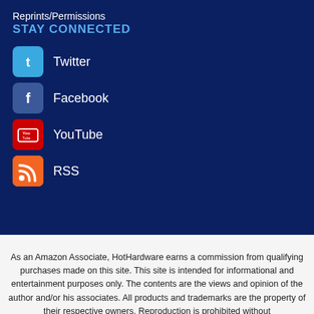Reprints/Permissions
STAY CONNECTED
Twitter
Facebook
YouTube
RSS
As an Amazon Associate, HotHardware earns a commission from qualifying purchases made on this site. This site is intended for informational and entertainment purposes only. The contents are the views and opinion of the author and/or his associates. All products and trademarks are the property of their respective owners. Reproduction is prohibited without permission.